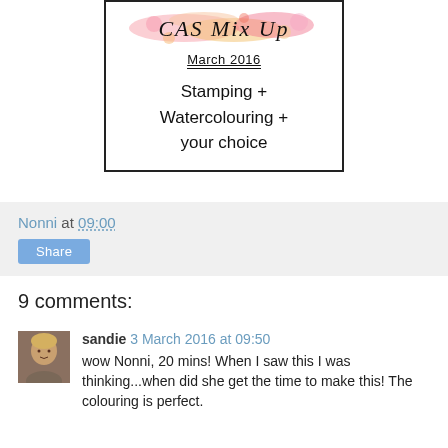[Figure (illustration): CAS Mix Up challenge badge for March 2016. Shows 'CAS Mix Up' in handwritten font with colorful watercolor splash, then 'March 2016' underlined, then 'Stamping + Watercolouring + your choice' in sans-serif text. Bordered box.]
Nonni at 09:00
Share
9 comments:
[Figure (photo): Small avatar photo of a blonde woman.]
sandie 3 March 2016 at 09:50
wow Nonni, 20 mins! When I saw this I was thinking...when did she get the time to make this! The colouring is perfect.